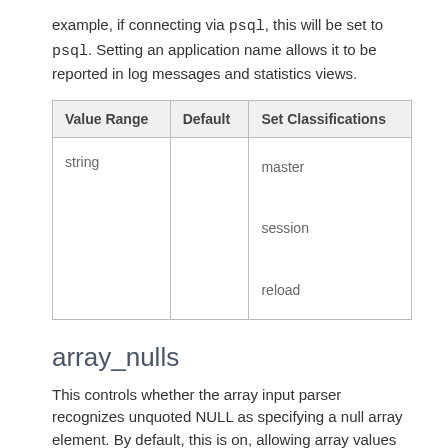example, if connecting via psql, this will be set to psql. Setting an application name allows it to be reported in log messages and statistics views.
| Value Range | Default | Set Classifications |
| --- | --- | --- |
| string |  | master

session

reload |
array_nulls
This controls whether the array input parser recognizes unquoted NULL as specifying a null array element. By default, this is on, allowing array values containing null values to be entered. Greenplum Database versions before